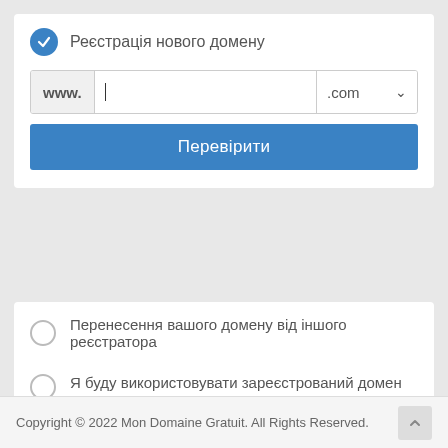Реєстрація нового домену
[Figure (screenshot): Domain registration form with www. label, text input with cursor, .com dropdown, and a blue Перевірити (Check) button]
Перенесення вашого домену від іншого реєстратора
Я буду використовувати зареєстрований домен та оновлю name-сервери
Copyright © 2022 Mon Domaine Gratuit. All Rights Reserved.